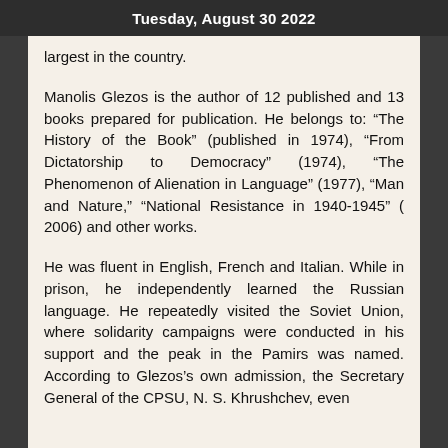Tuesday, August 30 2022
largest in the country.
Manolis Glezos is the author of 12 published and 13 books prepared for publication. He belongs to: “The History of the Book” (published in 1974), “From Dictatorship to Democracy” (1974), “The Phenomenon of Alienation in Language” (1977), “Man and Nature,” “National Resistance in 1940-1945” ( 2006) and other works.
He was fluent in English, French and Italian. While in prison, he independently learned the Russian language. He repeatedly visited the Soviet Union, where solidarity campaigns were conducted in his support and the peak in the Pamirs was named. According to Glezos’s own admission, the Secretary General of the CPSU, N. S. Khrushchev, even